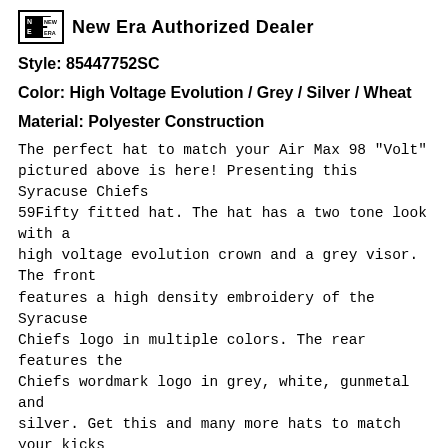[Figure (logo): New Era Authorized Dealer logo with flag icon and text]
Style: 85447752SC
Color: High Voltage Evolution / Grey / Silver / Wheat
Material: Polyester Construction
The perfect hat to match your Air Max 98 "Volt" pictured above is here! Presenting this Syracuse Chiefs 59Fifty fitted hat. The hat has a two tone look with a high voltage evolution crown and a grey visor. The front features a high density embroidery of the Syracuse Chiefs logo in multiple colors. The rear features the Chiefs wordmark logo in grey, white, gunmetal and silver. Get this and many more hats to match your kicks right here on Myfitteds.com! It was made to match the LeBron XI Maison du LeBron based on the sample with a wheat undervisor.